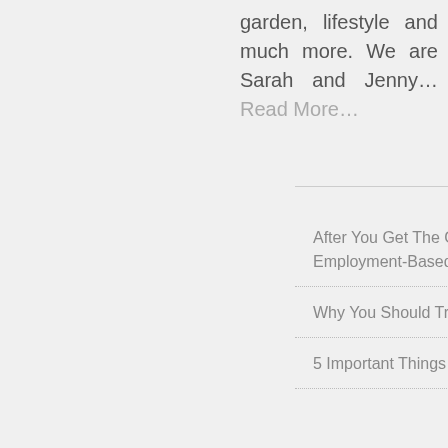garden, lifestyle and much more. We are Sarah and Jenny... Read More...
LATEST POST
After You Get The Green Light: What Happens Next In The Employment-Based Immigration Process
Why You Should Treat Yourself to a Personal Gift
5 Important Things to Do as a Couple Before the Wedding